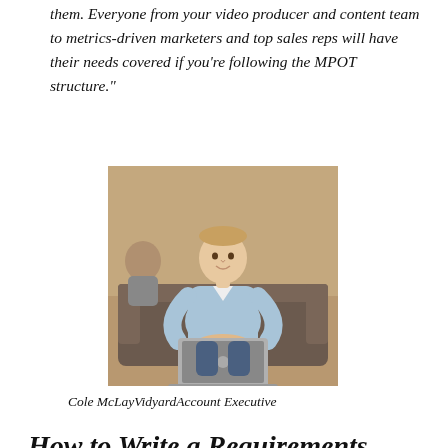them. Everyone from your video producer and content team to metrics-driven marketers and top sales reps will have their needs covered if you’re following the MPOT structure.”
[Figure (photo): Photo of Cole McLay, a man in a light blue shirt seated on a leather couch with a laptop in front of him, in an office setting.]
Cole McLayVidyardAccount Executive
How to Write a Requirements Document
Now that you know some of the capabilities you